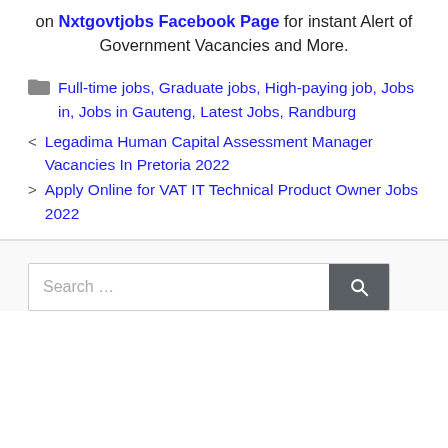on Nxtgovtjobs Facebook Page for instant Alert of Government Vacancies and More.
Full-time jobs, Graduate jobs, High-paying job, Jobs in, Jobs in Gauteng, Latest Jobs, Randburg
Legadima Human Capital Assessment Manager Vacancies In Pretoria 2022
Apply Online for VAT IT Technical Product Owner Jobs 2022
Search ...